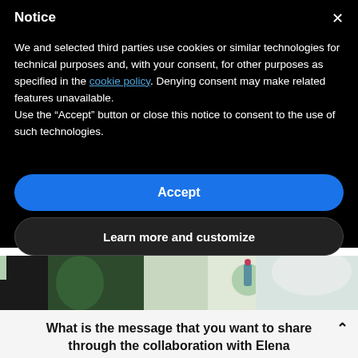Notice
We and selected third parties use cookies or similar technologies for technical purposes and, with your consent, for other purposes as specified in the cookie policy. Denying consent may make related features unavailable.
Use the "Accept" button or close this notice to consent to the use of such technologies.
Accept
Learn more and customize
[Figure (photo): Partial view of a colorful scene with plant/design elements, partially obscured by the modal overlay]
What is the message that you want to share through the collaboration with Elena Salmistraro?